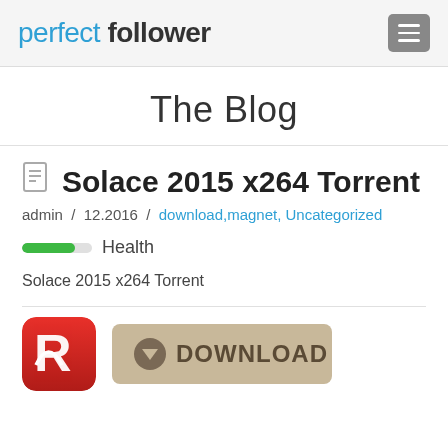perfect follower
The Blog
Solace 2015 x264 Torrent
admin / 12.2016 / download,magnet, Uncategorized
Health
Solace 2015 x264 Torrent
[Figure (screenshot): Red Avira antivirus logo and a tan/beige download button with circle arrow icon and text DOWNLOAD]